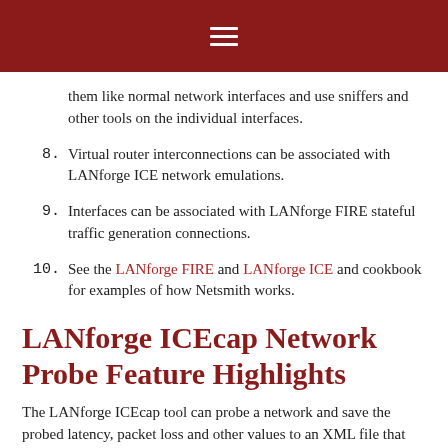≡
them like normal network interfaces and use sniffers and other tools on the individual interfaces.
8. Virtual router interconnections can be associated with LANforge ICE network emulations.
9. Interfaces can be associated with LANforge FIRE stateful traffic generation connections.
10. See the LANforge FIRE and LANforge ICE and cookbook for examples of how Netsmith works.
LANforge ICEcap Network Probe Feature Highlights
The LANforge ICEcap tool can probe a network and save the probed latency, packet loss and other values to an XML file that can be replayed by the LANforge ICE WAN emulator. This allows for realistic WAN emulations based on real-world